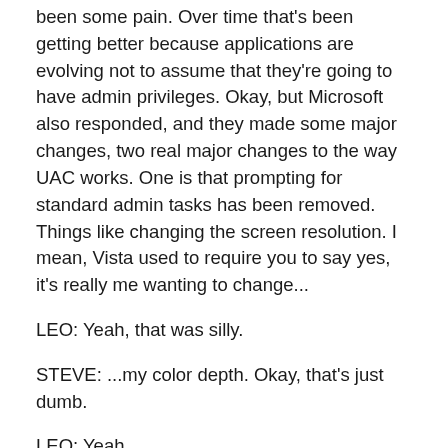been some pain. Over time that's been getting better because applications are evolving not to assume that they're going to have admin privileges. Okay, but Microsoft also responded, and they made some major changes, two real major changes to the way UAC works. One is that prompting for standard admin tasks has been removed. Things like changing the screen resolution. I mean, Vista used to require you to say yes, it's really me wanting to change...
LEO: Yeah, that was silly.
STEVE: ...my color depth. Okay, that's just dumb.
LEO: Yeah.
STEVE: Exactly. And so that they removed. The other thing is that they've better aggregated the way things trip User Account Control. So for example when you were